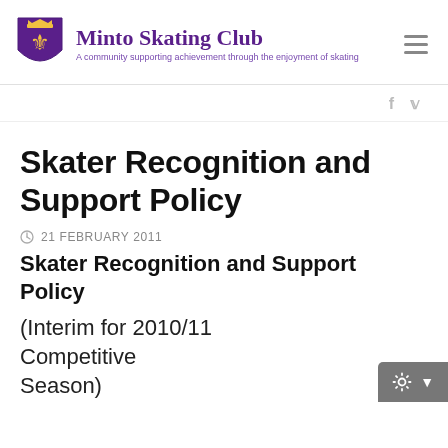[Figure (logo): Minto Skating Club logo: purple shield with gold crown and decorative figure, beside the club name in purple serif text and tagline 'A community supporting achievement through the enjoyment of skating']
Skater Recognition and Support Policy
21 FEBRUARY 2011
Skater Recognition and Support Policy
(Interim for 2010/11 Competitive Season)